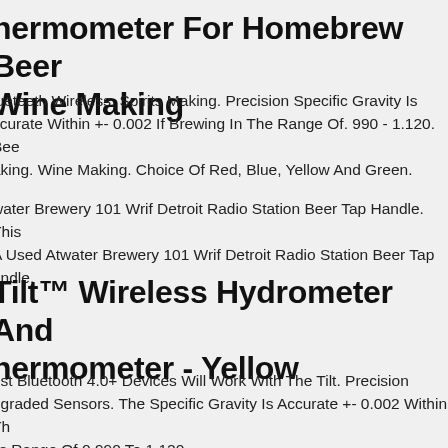hermometer For Homebrew Beer Wine Making
lueteeth Wireless. Spirits Making. Precision Specific Gravity Is ccurate Within +- 0.002 If Brewing In The Range Of. 990 - 1.120. Bee aking. Wine Making. Choice Of Red, Blue, Yellow And Green.
water Brewery 101 Wrif Detroit Radio Station Beer Tap Handle. This A Used Atwater Brewery 101 Wrif Detroit Radio Station Beer Tap andle.
Tilt™ Wireless Hydrometer And hermometer - Yellow
ost Bluetooth 4.0+ Devices Will Work With The Tilt. Precision ograded Sensors. The Specific Gravity Is Accurate +- 0.002 Within Th t's Range Of 0.990 To 1.120.